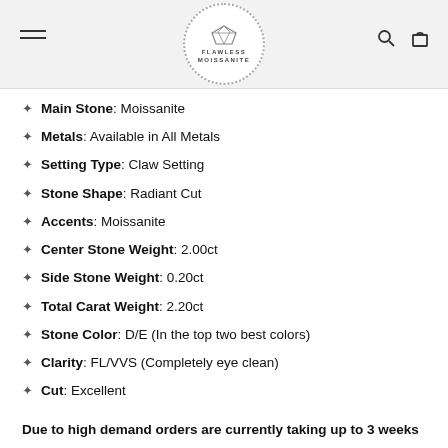[Figure (logo): Flawless Moissanite circular logo with diamond icon and dotted border]
Main Stone: Moissanite
Metals: Available in All Metals
Setting Type: Claw Setting
Stone Shape: Radiant Cut
Accents: Moissanite
Center Stone Weight: 2.00ct
Side Stone Weight: 0.20ct
Total Carat Weight: 2.20ct
Stone Color: D/E (In the top two best colors)
Clarity: FL/VVS (Completely eye clean)
Cut: Excellent
Due to high demand orders are currently taking up to 3 weeks